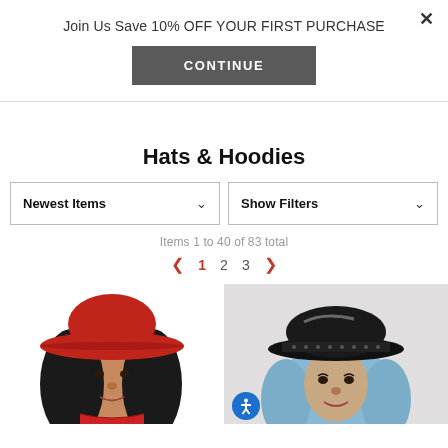Join Us Save 10% OFF YOUR FIRST PURCHASE
CONTINUE
Hats & Hoodies
Newest Items
Show Filters
Items 1 to 40 of 83 total
1  2  3
[Figure (photo): Woman wearing a red cowboy hat with long black hair and red bandana]
[Figure (photo): Person wearing a shiny black military-style cap with blue hair]